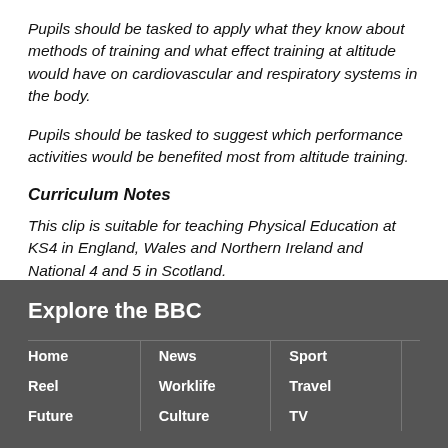Pupils should be tasked to apply what they know about methods of training and what effect training at altitude would have on cardiovascular and respiratory systems in the body.
Pupils should be tasked to suggest which performance activities would be benefited most from altitude training.
Curriculum Notes
This clip is suitable for teaching Physical Education at KS4 in England, Wales and Northern Ireland and National 4 and 5 in Scotland.
Explore the BBC
Home
News
Sport
Reel
Worklife
Travel
Future
Culture
TV